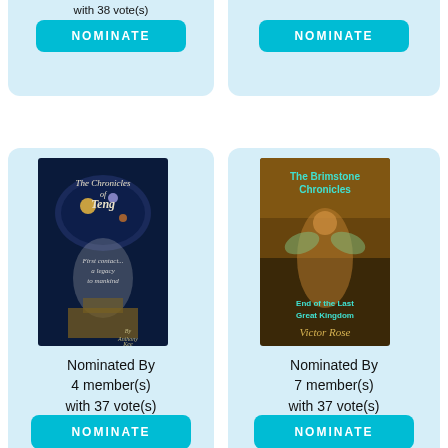with 38 vote(s)
[Figure (illustration): NOMINATE button top-left (partial card)]
[Figure (illustration): NOMINATE button top-right (partial card)]
[Figure (illustration): Book cover: The Chronicles of Teng by Anthony Kee]
Nominated By 4 member(s) with 37 vote(s)
[Figure (illustration): NOMINATE button mid-left]
[Figure (illustration): Book cover: The Brimstone Chronicles - End of the Last Great Kingdom by Victor Rose]
Nominated By 7 member(s) with 37 vote(s)
[Figure (illustration): NOMINATE button mid-right]
[Figure (illustration): Book cover bottom-left (partial, orange/white cover, 'A Novel', 'TONY S')]
[Figure (illustration): Book cover bottom-right (partial, dark cover: 'You can't escape the shadow of the past')]